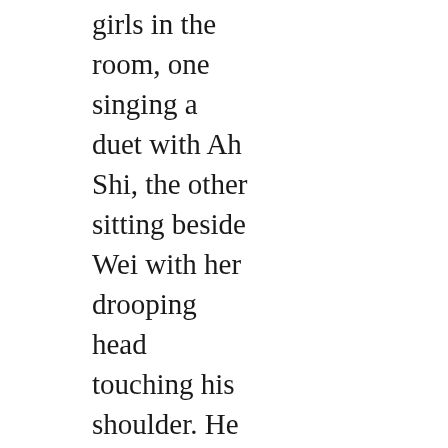girls in the room, one singing a duet with Ah Shi, the other sitting beside Wei with her drooping head touching his shoulder. He squinted at the two figures, having had